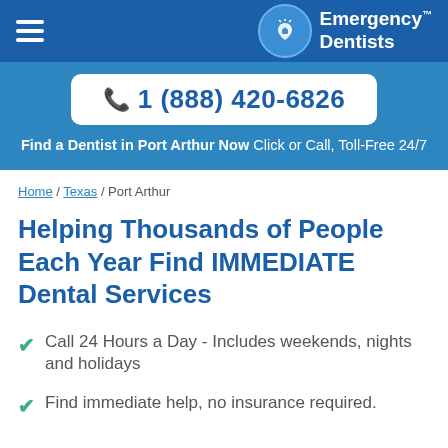Emergency Dentists
1 (888) 420-6826
Find a Dentist in Port Arthur Now Click or Call, Toll-Free 24/7
Home / Texas / Port Arthur
Helping Thousands of People Each Year Find IMMEDIATE Dental Services
Call 24 Hours a Day - Includes weekends, nights and holidays
Find immediate help, no insurance required.